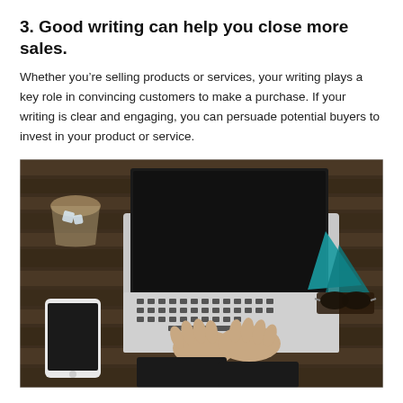3. Good writing can help you close more sales.
Whether you're selling products or services, your writing plays a key role in convincing customers to make a purchase. If your writing is clear and engaging, you can persuade potential buyers to invest in your product or service.
[Figure (photo): Overhead view of a person typing on a MacBook laptop on a wooden desk, with a smartphone on the left, a glass of iced drink in the upper left, and a teal/blue decorative object and sunglasses on the right.]